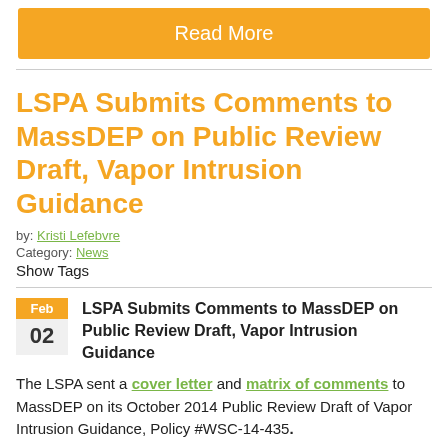Read More
LSPA Submits Comments to MassDEP on Public Review Draft, Vapor Intrusion Guidance
by: Kristi Lefebvre
Category: News
Show Tags
Feb 02 — LSPA Submits Comments to MassDEP on Public Review Draft, Vapor Intrusion Guidance
The LSPA sent a cover letter and matrix of comments to MassDEP on its October 2014 Public Review Draft of Vapor Intrusion Guidance, Policy #WSC-14-435.